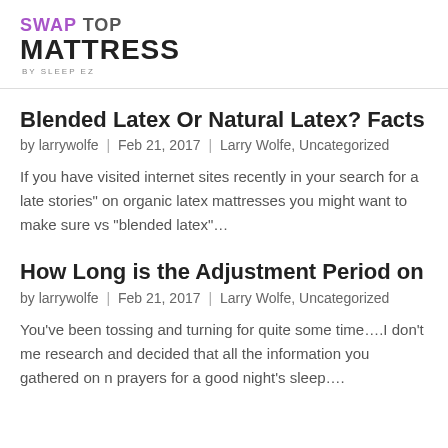SWAP TOP MATTRESS BY SLEEP EZ
Blended Latex Or Natural Latex? Facts You Should Know B
by larrywolfe | Feb 21, 2017 | Larry Wolfe, Uncategorized
If you have visited internet sites recently in your search for a late stories" on organic latex mattresses you might want to make sure vs "blended latex"...
How Long is the Adjustment Period on a New Latex Mattre
by larrywolfe | Feb 21, 2017 | Larry Wolfe, Uncategorized
You've been tossing and turning for quite some time....I don't me research and decided that all the information you gathered on n prayers for a good night's sleep....